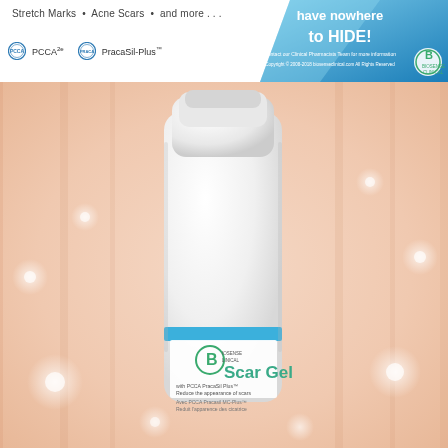Stretch Marks • Acne Scars • and more . . .
[Figure (logo): PCCA logo and PracaSil-Plus logo on white background]
[Figure (infographic): Blue diagonal banner with text 'have nowhere to HIDE!' and Biosense Clinical branding on right side]
[Figure (photo): Biosense Clinical Scar Gel product bottle with PCCA PracaSil Plus, shown against peach/cream bokeh background with sparkle effects. Label reads: Scar Gel, with PCCA PracaSil Plus, Reduce the appearance of scars, Avec PCCA Pracasil MC-Plus, Reduit l'apparence des cicatrice]